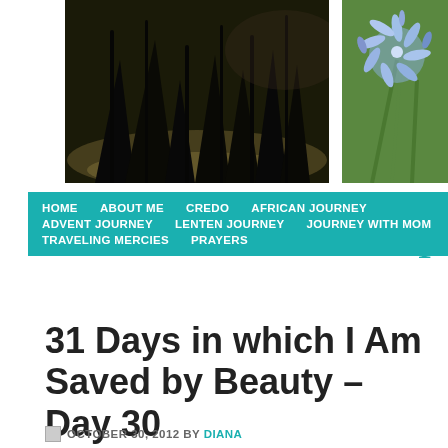[Figure (photo): Left header photo: dark silhouette of plants/reeds against a warm sunset/water background]
[Figure (photo): Right header photo: close-up of blue/purple agapanthus flowers with green stems]
a p
HOME  ABOUT ME  CREDO  AFRICAN JOURNEY  ADVENT JOURNEY  LENTEN JOURNEY  JOURNEY WITH MOM  TRAVELING MERCIES  PRAYERS
31 Days in which I Am Saved by Beauty – Day 30
OCTOBER 30, 2012 BY DIANA